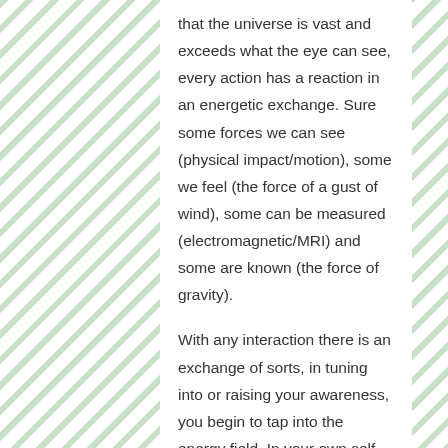that the universe is vast and exceeds what the eye can see, every action has a reaction in an energetic exchange. Sure some forces we can see (physical impact/motion), some we feel (the force of a gust of wind), some can be measured (electromagnetic/MRI) and some are known (the force of gravity).
With any interaction there is an exchange of sorts, in tuning into or raising your awareness, you begin to tap into the energy field. In your own self-awareness you harness your own unlimited